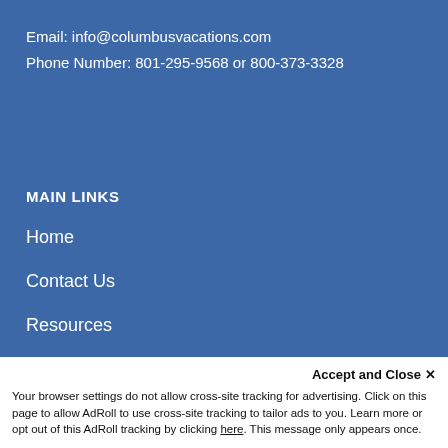Email: info@columbusvacations.com
Phone Number: 801-295-9568 or 800-373-3328
MAIN LINKS
Home
Contact Us
Resources
Travel Blog
Travel Protection
Accept and Close ✕
Your browser settings do not allow cross-site tracking for advertising. Click on this page to allow AdRoll to use cross-site tracking to tailor ads to you. Learn more or opt out of this AdRoll tracking by clicking here. This message only appears once.